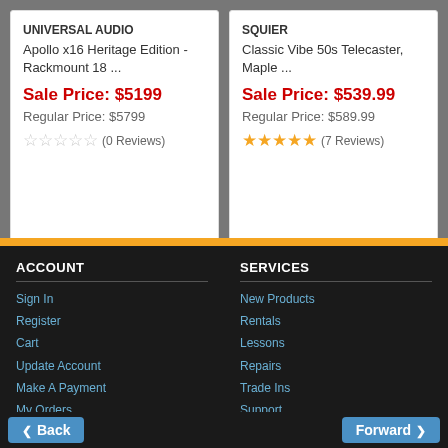UNIVERSAL AUDIO
Apollo x16 Heritage Edition - Rackmount 18 ...
Sale Price: $5199
Regular Price: $5799
(0 Reviews)
SQUIER
Classic Vibe 50s Telecaster, Maple ...
Sale Price: $539.99
Regular Price: $589.99
(7 Reviews)
ACCOUNT
Sign In
Register
Cart
Update Account
Make A Payment
My Orders
Gift Card Balance
SERVICES
New Products
Rentals
Lessons
Repairs
Trade Ins
Support
Financing
Back | Forward